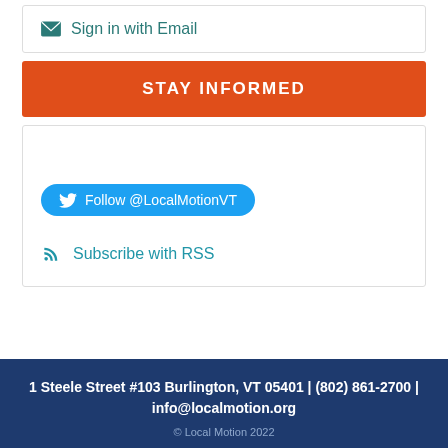Sign in with Email
STAY INFORMED
Follow @LocalMotionVT
Subscribe with RSS
1 Steele Street #103 Burlington, VT 05401 | (802) 861-2700 | info@localmotion.org
© Local Motion 2022